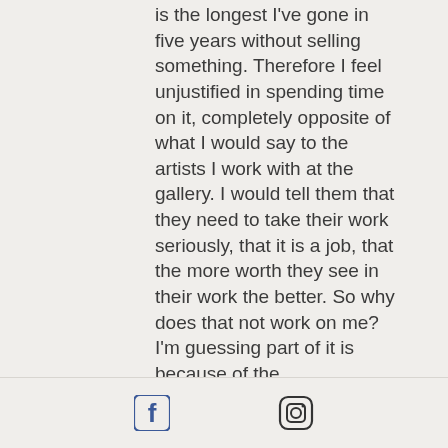is the longest I've gone in five years without selling something. Therefore I feel unjustified in spending time on it, completely opposite of what I would say to the artists I work with at the gallery. I would tell them that they need to take their work seriously, that it is a job, that the more worth they see in their work the better. So why does that not work on me? I'm guessing part of it is because of the overwhelming time suck of all my other endeavors, work, volunteering, managing my health (ugh). So I quit my board of directors position, I am trying to hone my work hours down to 10 a week, I have studio space.  I
[Figure (logo): Facebook logo icon and Instagram logo icon displayed in a footer bar]